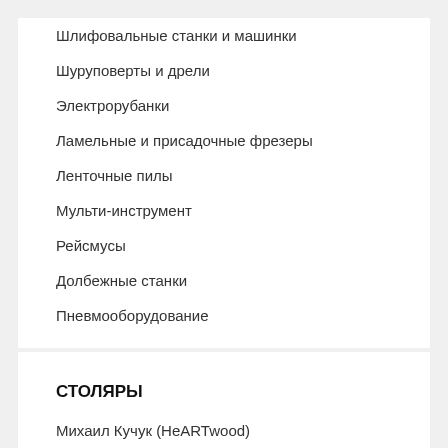Шлифовальные станки и машинки
Шуруповерты и дрели
Электрорубанки
Ламельные и присадочные фрезеры
Ленточные пилы
Мульти-инструмент
Рейсмусы
Долбежные станки
Пневмооборудование
СТОЛЯРЫ
Михаил Кучук (HeARTwood)